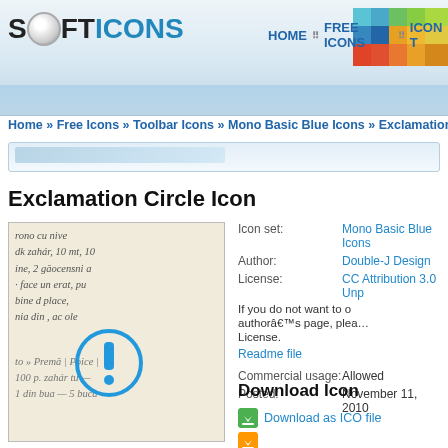SOFTICONS — HOME :: FREE ICONS :: ICON T…
Home » Free Icons » Toolbar Icons » Mono Basic Blue Icons » Exclamation Ci…
Exclamation Circle Icon
[Figure (screenshot): Preview of Exclamation Circle Icon on a handwritten manuscript background, with a blue circle exclamation mark overlay]
| Field | Value |
| --- | --- |
| Icon set: | Mono Basic Blue Icons |
| Author: | Double-J Design |
| License: | CC Attribution 3.0 Unp… |
|  | If you do not want to o… authorâ€™s page, plea… License. |
|  | Readme file |
| Commercial usage: | Allowed |
| Posted: | November 11, 2010 |
Download Icon
Download as ICO file